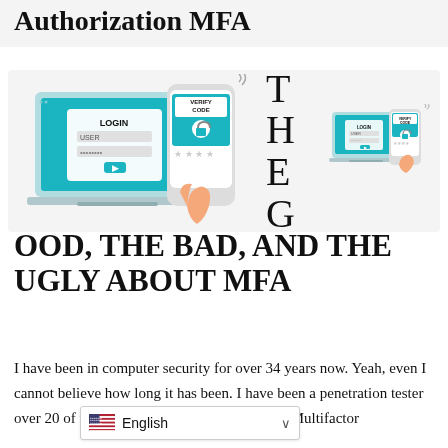Authorization MFA
[Figure (illustration): Two illustrations of MFA login screens: left shows a laptop with a LOGIN form (USER, password fields, arrow button) and a hand holding a phone displaying VERIFY CODE with a padlock and stars; right shows a smaller version of a laptop with LOGIN/USER/password fields and a hand holding a phone with VERIFY CODE and padlock.]
THE GOOD, THE BAD, AND THE UGLY ABOUT MFA
I have been in computer security for over 34 years now. Yeah, even I cannot believe how long it has been. I have been a penetration tester over 20 of th[e years and have performed tests on dozens of Multifactor